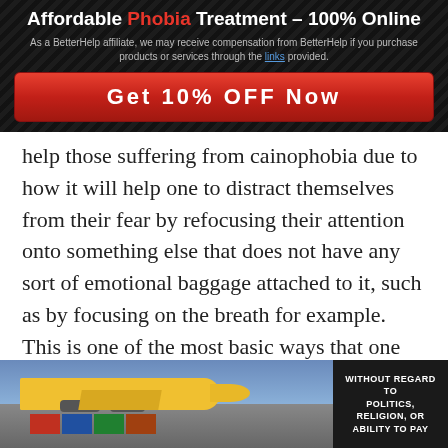Affordable Phobia Treatment – 100% Online
As a BetterHelp affiliate, we may receive compensation from BetterHelp if you purchase products or services through the links provided.
Get 10% OFF Now
help those suffering from cainophobia due to how it will help one to distract themselves from their fear by refocusing their attention onto something else that does not have any sort of emotional baggage attached to it, such as by focusing on the breath for example. This is one of the most basic ways that one can meditate and be present.
For someone with cainophobia in the midst of a panic attack, redirecting one's attention to the
[Figure (photo): Advertisement banner showing an airplane being loaded with cargo, with a dark panel on the right reading 'WITHOUT REGARD TO POLITICS, RELIGION, OR ABILITY TO PAY']